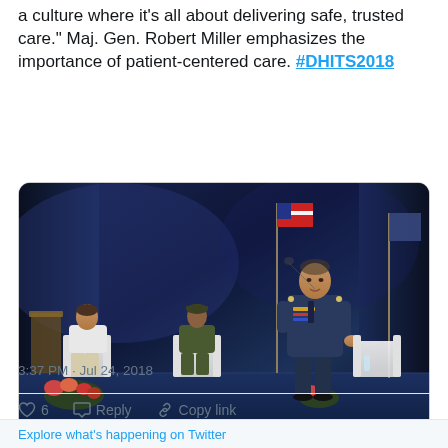a culture where it’s all about delivering safe, trusted care.” Maj. Gen. Robert Miller emphasizes the importance of patient-centered care. #DHITS2018
[Figure (photo): Maj. Gen. Robert Miller in military dress uniform speaking on stage at a conference, with two other military officers seated behind him in white chairs, an American flag in the background, and blue stage lighting.]
3:37 PM · Jul 24, 2018
6   Reply   Copy link
Explore what’s happening on Twitter